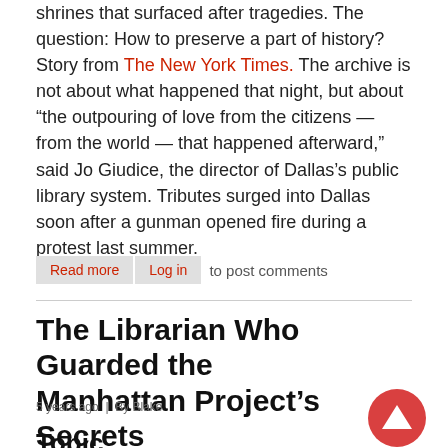shrines that surfaced after tragedies. The question: How to preserve a part of history? Story from The New York Times. The archive is not about what happened that night, but about “the outpouring of love from the citizens — from the world — that happened afterward,” said Jo Giudice, the director of Dallas’s public library system. Tributes surged into Dallas soon after a gunman opened fire during a protest last summer.
Read more  Log in  to post comments
The Librarian Who Guarded the Manhattan Project’s Secrets
5 years ago  |  By Blake
Topic